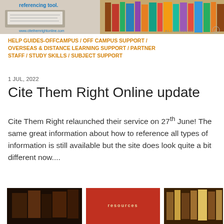[Figure (photo): Banner image showing laptop with open book and library bookshelf background, with text 'referencing tool.' and Bloomsbury logo]
HELP GUIDES-OFFCAMPUS / OFF CAMPUS SUPPORT / OVERSEAS & DISTANCE LEARNING SUPPORT / PARTNER STAFF / STUDY SKILLS / SUBJECT SUPPORT
1 JUL, 2022
Cite Them Right Online update
Cite Them Right relaunched their service on 27th June! The same great information about how to reference all types of information is still available but the site does look quite a bit different now....
[Figure (photo): Three thumbnail images at the bottom of the page showing library/book related scenes]